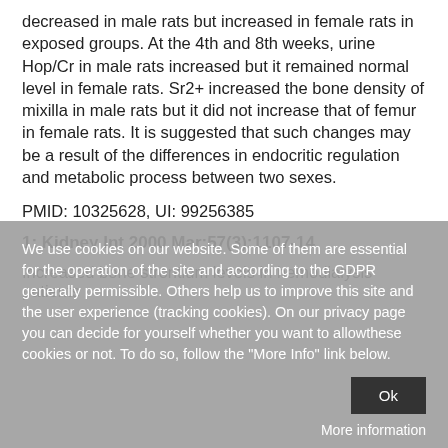decreased in male rats but increased in female rats in exposed groups. At the 4th and 8th weeks, urine Hop/Cr in male rats increased but it remained normal level in female rats. Sr2+ increased the bone density of mixilla in male rats but it did not increase that of femur in female rats. It is suggested that such changes may be a result of the differences in endocritic regulation and metabolic process between two sexes.
PMID: 10325628, UI: 99256385
1: Kidney Int 2000 Mar;57(3):1107-14
Increased bone strontium levels in hemodialysis patients
We use cookies on our website. Some of them are essential for the operation of the site and according to the GDPR generally permissible. Others help us to improve this site and the user experience (tracking cookies). On our privacy page you can decide for yourself whether you want to allowthese cookies or not. To do so, follow the "More Info" link below.